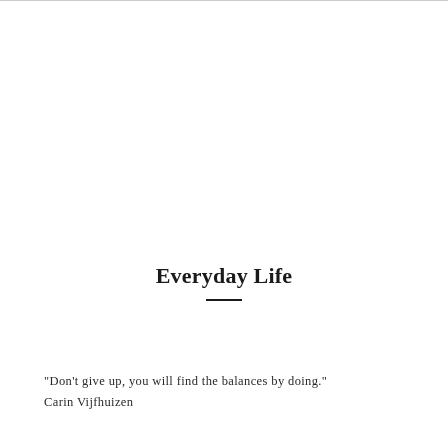Everyday Life
"Don't give up, you will find the balances by doing."
Carin Vijfhuizen